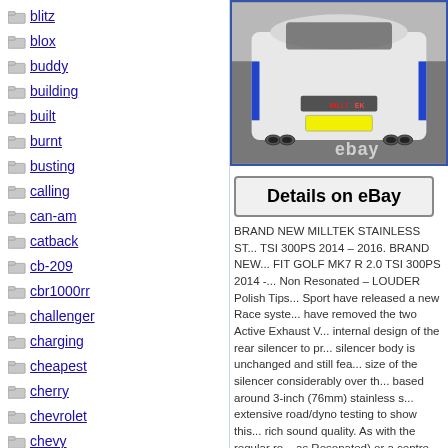blitz
blox
buddy
building
built
burnt
busting
calling
can-am
catback
cb-209
cbr1000rr
challenger
charging
cheapest
cherry
chevrolet
chevy
choose
citroen
civic
[Figure (photo): Rear view of a white VW Golf MK7 R with Milltek exhaust system, showing quad exhaust tips, blue/white livery with Milltek Sport branding, photographed in a garage. eBay watermark visible.]
Details on eBay
BRAND NEW MILLTEK STAINLESS ST... TSI 300PS 2014 – 2016. BRAND NEW... FIT GOLF MK7 R 2.0 TSI 300PS 2014 -... Non Resonated – LOUDER Polish Tips... Sport have released a new Race syste... have removed the two Active Exhaust V... internal design of the rear silencer to pr... silencer body is unchanged and still fea... size of the silencer considerably over th... based around 3-inch (76mm) stainless s... extensive road/dyno testing to show this... rich sound quality. As with the regular ro... as Resonated) or a centre silencer dele... For customers looking to get the best po...